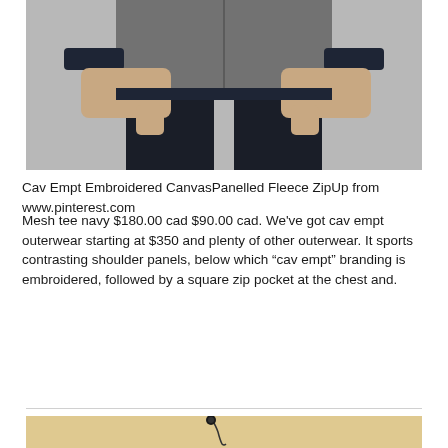[Figure (photo): Man wearing a grey heathered fleece zip-up jacket with navy contrast cuffs and collar, paired with dark navy/black trousers. Shot from chest down, neutral grey background.]
Cav Empt Embroidered CanvasPanelled Fleece ZipUp from www.pinterest.com
Mesh tee navy $180.00 cad $90.00 cad. We've got cav empt outerwear starting at $350 and plenty of other outerwear. It sports contrasting shoulder panels, below which “cav empt” branding is embroidered, followed by a square zip pocket at the chest and.
[Figure (photo): Small earphone or wireless earbud placed on a warm beige/tan background, partially visible at bottom of page.]